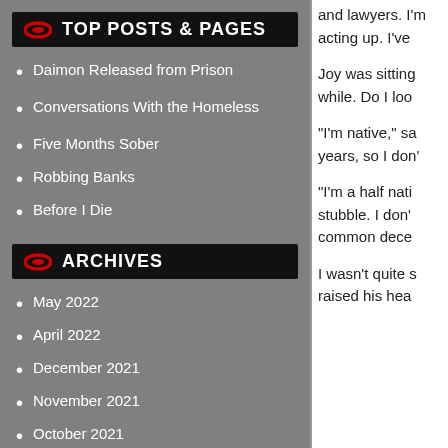TOP POSTS & PAGES
Daimon Released from Prison
Conversations With the Homeless
Five Months Sober
Robbing Banks
Before I Die
ARCHIVES
May 2022
April 2022
December 2021
November 2021
October 2021
September 2021
and lawyers. I’m acting up. I’ve
Joy was sitting while. Do I loo
“I’m native,” sa years, so I don’
“I’m a half nati stubble. I don’ common dece
I wasn’t quite s raised his hea